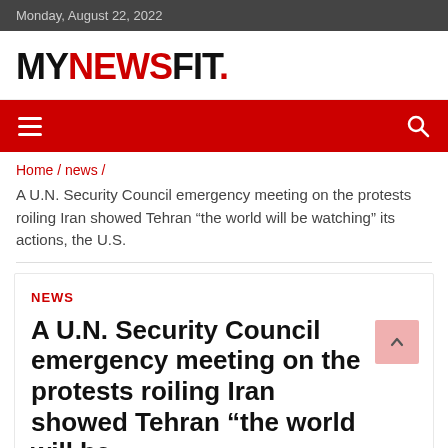Monday, August 22, 2022
MYNEWSFIT.
Home / news / A U.N. Security Council emergency meeting on the protests roiling Iran showed Tehran “the world will be watching” its actions, the U.S.
NEWS
A U.N. Security Council emergency meeting on the protests roiling Iran showed Tehran “the world will be